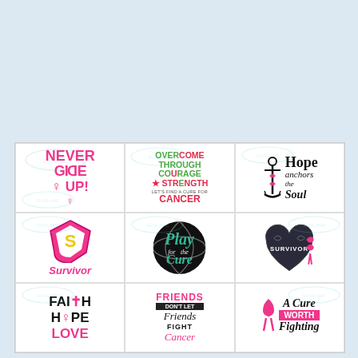[Figure (illustration): A 3x3 grid of breast cancer awareness SVG clipart designs on a white background with light blue surround. Designs include: 'Never Give Up!' in pink bold text with ribbon; 'Overcome Through Courage & Strength – Let's Find a Cure for Cancer' in pink/green text with skull; 'Hope Anchors the Soul' with anchor and pink ribbon; Superman 'Survivor' logo in pink; 'Play for the Cure' volleyball design in teal; 'Survivor' heart with pink ribbon; 'Faith Hope Love' in bold black/pink text with cross; 'Friends Don't Let Friends Fight Cancer' in pink/black script; 'A Cure Worth Fighting For' with pink ribbon. All designs have SVGLand watermarks.]